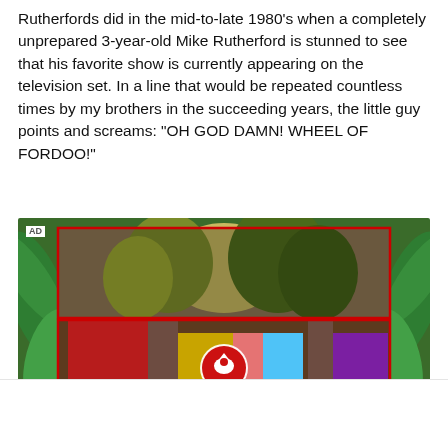Rutherfords did in the mid-to-late 1980's when a completely unprepared 3-year-old Mike Rutherford is stunned to see that his favorite show is currently appearing on the television set. In a line that would be repeated countless times by my brothers in the succeeding years, the little guy points and screams: "OH GOD DAMN! WHEEL OF FORDOO!"
[Figure (photo): Advertisement video thumbnail showing tropical plants and colorful clothing with an AD label and a media player logo overlay]
[Figure (logo): Red circular logo with a bird/eagle icon in the footer]
[Figure (infographic): Twitter bird icon and Facebook f icon in the footer for social sharing]